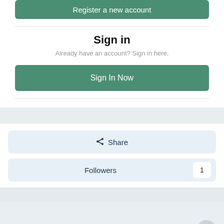[Figure (screenshot): Partial 'Register a new account' green button at top, cropped]
Sign in
Already have an account? Sign in here.
Sign In Now
Share
Followers 1
Go to topic listing